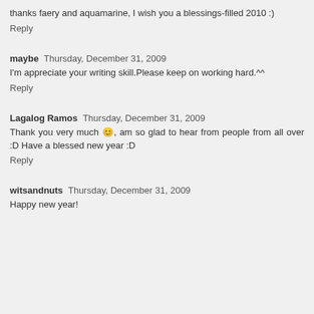thanks faery and aquamarine, I wish you a blessings-filled 2010 :)
Reply
maybe  Thursday, December 31, 2009
I'm appreciate your writing skill.Please keep on working hard.^^
Reply
Lagalog Ramos  Thursday, December 31, 2009
Thank you very much 😊, am so glad to hear from people from all over :D Have a blessed new year :D
Reply
witsandnuts  Thursday, December 31, 2009
Happy new year!